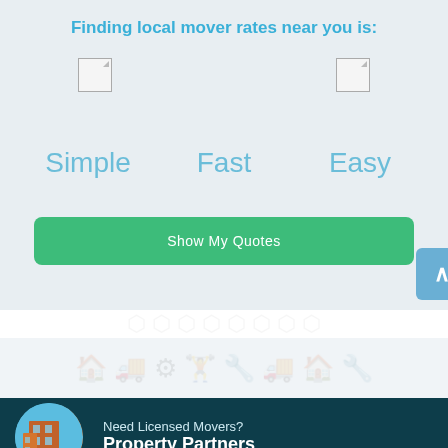Finding local mover rates near you is:
Simple
Fast
Easy
Show My Quotes
Need Licensed Movers? Property Partners